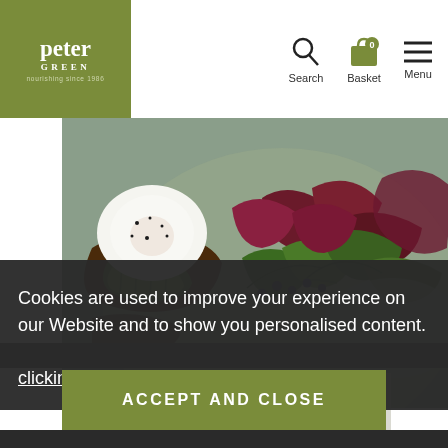Peter Green — Search, Basket, Menu navigation header
[Figure (photo): Overhead view of avocado toast with a poached egg and a side salad of mixed greens on a plate]
Breakfast Menu
Cookies are used to improve your experience on our Website and to show you personalised content. You can opt out of non-essential Cookies by clicking here.
ACCEPT AND CLOSE